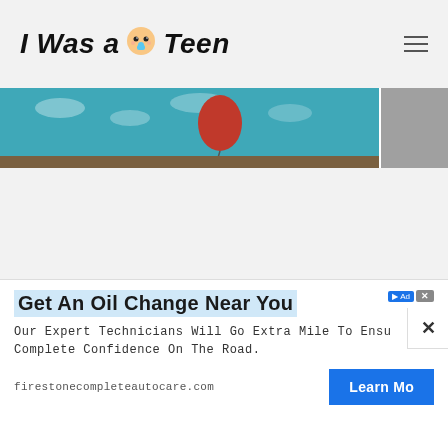I Was a Teen
[Figure (illustration): Partial view of a colorful illustrated banner image showing a cartoon figure with a balloon against a teal sky with clouds, partially obscured.]
[Figure (screenshot): Advertisement overlay: Get An Oil Change Near You - Firestone Complete Auto Care. Our Expert Technicians Will Go Extra Mile To Ensure Complete Confidence On The Road. firestonecompleteautocare.com. Learn More button.]